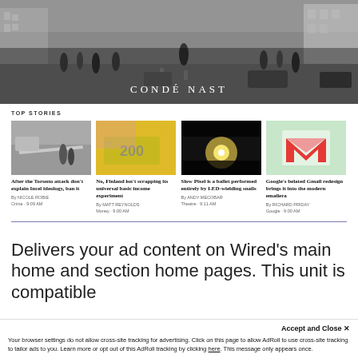[Figure (photo): Black and white street photo of a busy city street with pedestrians and cars, Condé Nast hero banner]
CONDÉ NAST
TOP STORIES
[Figure (photo): News story image: street scene with police tape, Toronto attack article]
After the Toronto attack don't explain Incel ideology, ban it
By NICOLE ROBIE
Crime · 9:09 AM
[Figure (photo): News story image: Euro banknotes, Finland basic income article]
No, Finland isn't scrapping its universal basic income experiment
By MATT REYNOLDS
Money · 9:00 AM
[Figure (photo): News story image: dark photo with glowing light, Slow Pixels LED snails article]
Slow Pixel is a ballet performed entirely by LED-wielding snails
By ANDY MECOBAR
Theatre · 9:11 AM
[Figure (screenshot): News story image: Gmail M logo on green background, Gmail redesign article]
Google's belated Gmail redesign brings it into the modern emailera
By RICHARD PRIDAY
Google · 9:00 AM
Delivers your ad content on Wired's main home and section home pages. This unit is compatible
Accept and Close ✕
Your browser settings do not allow cross-site tracking for advertising. Click on this page to allow AdRoll to use cross-site tracking to tailor ads to you. Learn more or opt out of this AdRoll tracking by clicking here. This message only appears once.